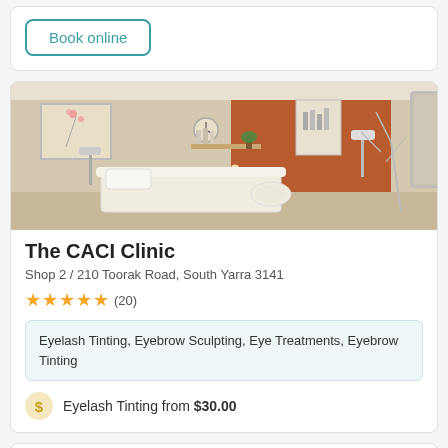Book online
[Figure (photo): Interior of The CACI Clinic showing a treatment room with a white massage/treatment bed, an orange feature wall, shelving with products, and decorative items including dried branches and candles.]
The CACI Clinic
Shop 2 / 210 Toorak Road, South Yarra 3141
★★★★★ (20)
Eyelash Tinting, Eyebrow Sculpting, Eye Treatments, Eyebrow Tinting
Eyelash Tinting from $30.00
Book online